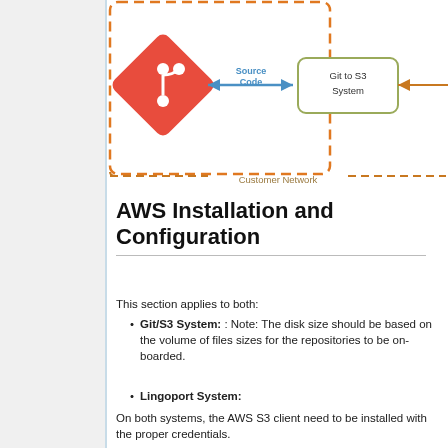[Figure (flowchart): Partial architecture diagram showing a Git logo (red diamond) connected via a blue double-headed arrow labeled 'Source Code' to a rounded rectangle labeled 'Git to S3 System'. A dashed orange border encloses the left portion, labeled 'Customer Network' at the bottom.]
AWS Installation and Configuration
This section applies to both:
Git/S3 System: : Note: The disk size should be based on the volume of files sizes for the repositories to be on-boarded.
Lingoport System:
On both systems, the AWS S3 client need to be installed with the proper credentials.